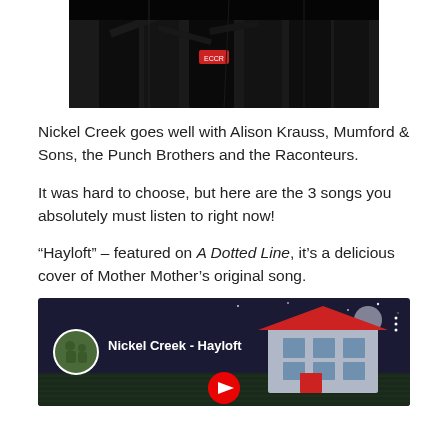[Figure (photo): Dark photo of musicians playing instruments (fiddle/violin and guitar) on stage, cropped to show hands and instruments]
Nickel Creek goes well with Alison Krauss, Mumford & Sons, the Punch Brothers and the Raconteurs.
It was hard to choose, but here are the 3 songs you absolutely must listen to right now!
“Hayloft” – featured on A Dotted Line, it’s a delicious cover of Mother Mother’s original song.
[Figure (screenshot): YouTube video embed thumbnail for Nickel Creek - Hayloft, showing a circular avatar of the band on the left, the video title 'Nickel Creek - Hayloft', a red play button at the bottom center, and an illustrated night scene with a house and moon in the background]